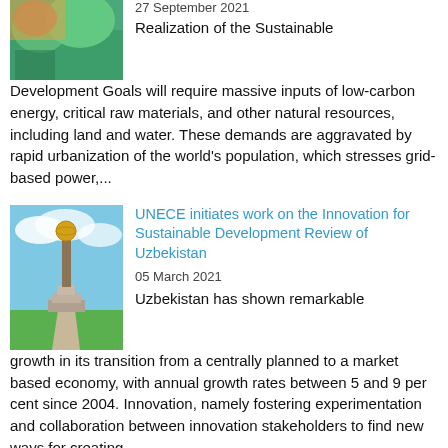[Figure (photo): Partial image visible at top left — colorful illustration or photo, partially cropped]
27 September 2021
Realization of the Sustainable Development Goals will require massive inputs of low-carbon energy, critical raw materials, and other natural resources, including land and water. These demands are aggravated by rapid urbanization of the world's population, which stresses grid-based power,...
[Figure (photo): Photo of a tall monument with a globe on top, against a blue sky with clouds, green lawns in foreground — Uzbekistan landmark]
UNECE initiates work on the Innovation for Sustainable Development Review of Uzbekistan
05 March 2021
Uzbekistan has shown remarkable growth in its transition from a centrally planned to a market based economy, with annual growth rates between 5 and 9 per cent since 2004. Innovation, namely fostering experimentation and collaboration between innovation stakeholders to find new ways for creating...